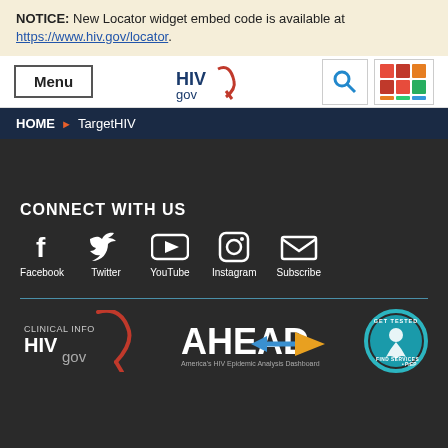NOTICE: New Locator widget embed code is available at https://www.hiv.gov/locator.
[Figure (screenshot): HIV.gov navigation bar with Menu button, HIV.gov logo, search icon, and colorful mosaic logo icon]
HOME > TargetHIV
CONNECT WITH US
[Figure (infographic): Social media icons row: Facebook, Twitter, YouTube, Instagram, Subscribe]
[Figure (logo): Footer logos: Clinical Info HIVgov, AHEAD America's HIV Epidemic Analysis Dashboard, Get Tested Find Services + PrEP circular badge]